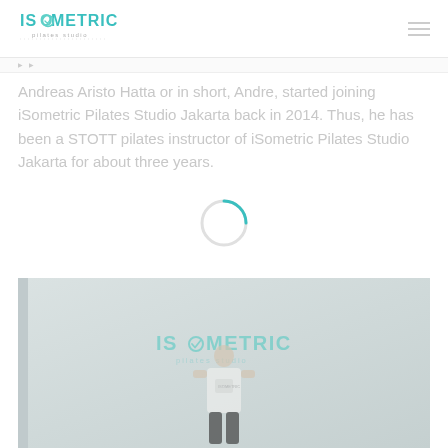iSometric Pilates Studio
Andreas Aristo Hatta or in short, Andre, started joining iSometric Pilates Studio Jakarta back in 2014. Thus, he has been a STOTT pilates instructor of iSometric Pilates Studio Jakarta for about three years.
[Figure (photo): Photo of a person standing in front of the iSometric Pilates Studio logo on the wall]